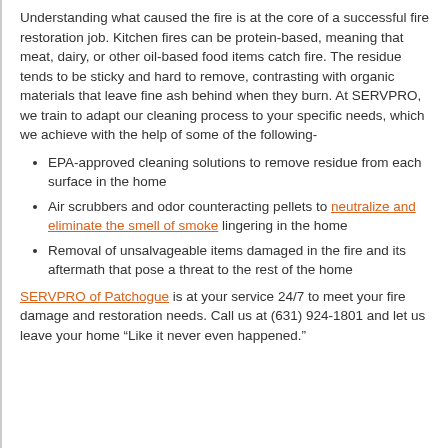Understanding what caused the fire is at the core of a successful fire restoration job. Kitchen fires can be protein-based, meaning that meat, dairy, or other oil-based food items catch fire. The residue tends to be sticky and hard to remove, contrasting with organic materials that leave fine ash behind when they burn. At SERVPRO, we train to adapt our cleaning process to your specific needs, which we achieve with the help of some of the following-
EPA-approved cleaning solutions to remove residue from each surface in the home
Air scrubbers and odor counteracting pellets to neutralize and eliminate the smell of smoke lingering in the home
Removal of unsalvageable items damaged in the fire and its aftermath that pose a threat to the rest of the home
SERVPRO of Patchogue is at your service 24/7 to meet your fire damage and restoration needs. Call us at (631) 924-1801 and let us leave your home “Like it never even happened.”